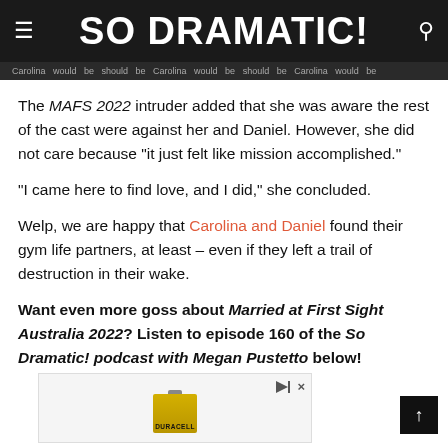SO DRAMATIC!
The MAFS 2022 intruder added that she was aware the rest of the cast were against her and Daniel. However, she did not care because "it just felt like mission accomplished."
"I came here to find love, and I did," she concluded.
Welp, we are happy that Carolina and Daniel found their gym life partners, at least – even if they left a trail of destruction in their wake.
Want even more goss about Married at First Sight Australia 2022? Listen to episode 160 of the So Dramatic! podcast with Megan Pustetto below!
[Figure (other): Advertisement banner showing a Duracell battery with play and close icons]